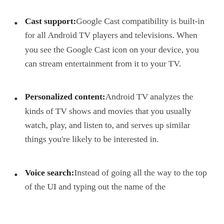Cast support: Google Cast compatibility is built-in for all Android TV players and televisions. When you see the Google Cast icon on your device, you can stream entertainment from it to your TV.
Personalized content: Android TV analyzes the kinds of TV shows and movies that you usually watch, play, and listen to, and serves up similar things you're likely to be interested in.
Voice search: Instead of going all the way to the top of the UI and typing out the name of the